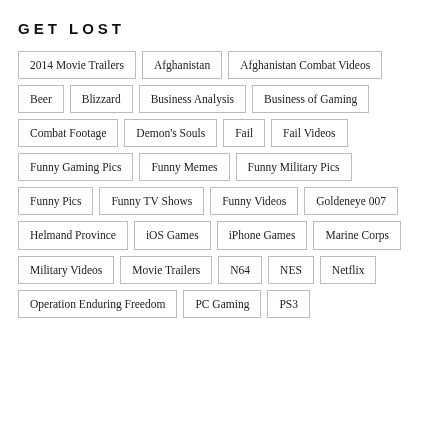GET LOST
2014 Movie Trailers
Afghanistan
Afghanistan Combat Videos
Beer
Blizzard
Business Analysis
Business of Gaming
Combat Footage
Demon's Souls
Fail
Fail Videos
Funny Gaming Pics
Funny Memes
Funny Military Pics
Funny Pics
Funny TV Shows
Funny Videos
Goldeneye 007
Helmand Province
iOS Games
iPhone Games
Marine Corps
Military Videos
Movie Trailers
N64
NES
Netflix
Operation Enduring Freedom
PC Gaming
PS3